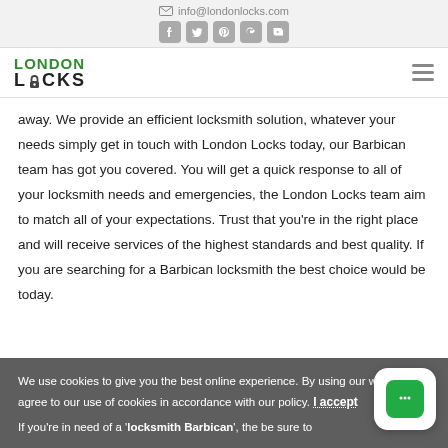info@londonlocks.com
[Figure (logo): London Locks logo with green LONDON text and black LOCKS text with lock icon on O]
away. We provide an efficient locksmith solution, whatever your needs simply get in touch with London Locks today, our Barbican team has got you covered. You will get a quick response to all of your locksmith needs and emergencies, the London Locks team aim to match all of your expectations. Trust that you're in the right place and will receive services of the highest standards and best quality. If you are searching for a Barbican locksmith the best choice would be today.
We use cookies to give you the best online experience. By using our website you agree to our use of cookies in accordance with our policy. I accept
If you're in need of a 'locksmith Barbican', the be sure to